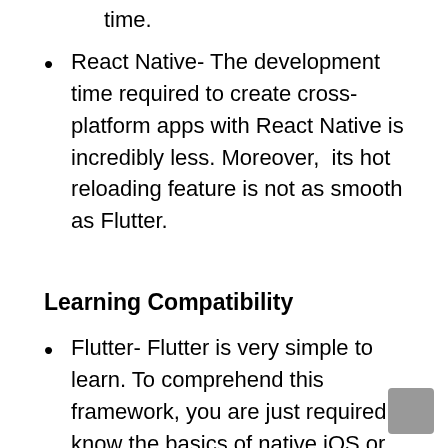time.
React Native- The development time required to create cross-platform apps with React Native is incredibly less. Moreover,  its hot reloading feature is not as smooth as Flutter.
Learning Compatibility
Flutter- Flutter is very simple to learn. To comprehend this framework, you are just required to know the basics of native iOS or Android development